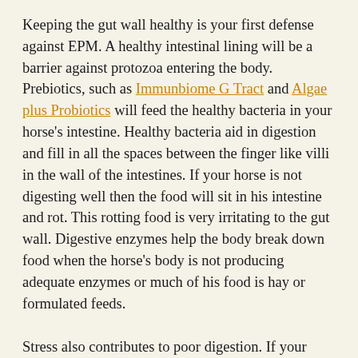Keeping the gut wall healthy is your first defense against EPM. A healthy intestinal lining will be a barrier against protozoa entering the body. Prebiotics, such as Immunbiome G Tract and Algae plus Probiotics will feed the healthy bacteria in your horse's intestine. Healthy bacteria aid in digestion and fill in all the spaces between the finger like villi in the wall of the intestines. If your horse is not digesting well then the food will sit in his intestine and rot. This rotting food is very irritating to the gut wall. Digestive enzymes help the body break down food when the horse's body is not producing adequate enzymes or much of his food is hay or formulated feeds.
Stress also contributes to poor digestion. If your horse is concerned about something his digestion will slow down. Even hard training can worry a horse enough to affect his digestion. Some horses will show their concern